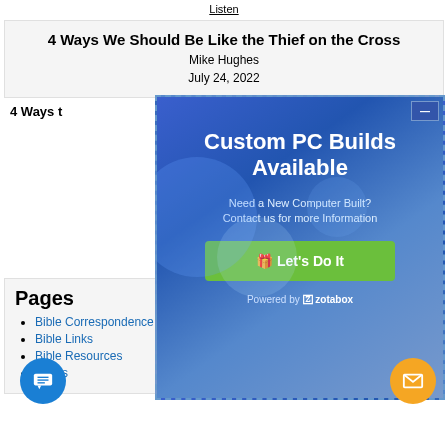Listen
4 Ways We Should Be Like the Thief on the Cross
Mike Hughes
July 24, 2022
4 Ways t…
[Figure (screenshot): Advertisement overlay for Custom PC Builds Available. Blue gradient background with water/bubble imagery. Text: 'Custom PC Builds Available', 'Need a New Computer Built? Contact us for more Information', green button 'Let's Do It', 'Powered by zotabox']
Pages
Bible Correspondence Course
Bible Links
Bible Resources
Tracts